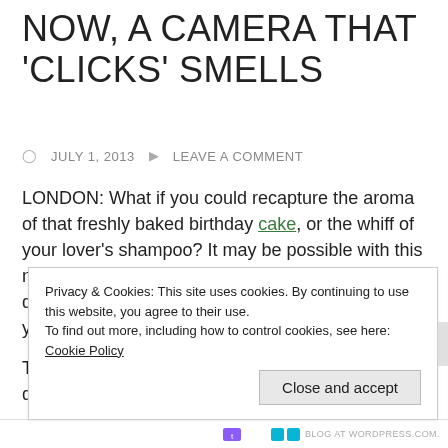NOW, A CAMERA THAT 'CLICKS' SMELLS
JULY 1, 2013   LEAVE A COMMENT
LONDON: What if you could recapture the aroma of that freshly baked birthday cake, or the whiff of your lover's shampoo? It may be possible with this new camera! Researchers in the UK have developed a camera that can capture the scent of your memories, recording smells instead of images.
The gadget, called Madeleine, is the invention ofdesigner Amy
Privacy & Cookies: This site uses cookies. By continuing to use this website, you agree to their use.
To find out more, including how to control cookies, see here: Cookie Policy
Close and accept